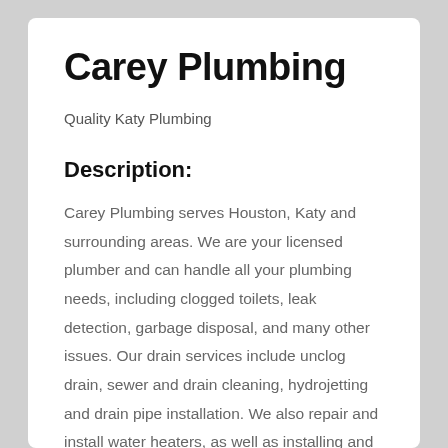Carey Plumbing
Quality Katy Plumbing
Description:
Carey Plumbing serves Houston, Katy and surrounding areas. We are your licensed plumber and can handle all your plumbing needs, including clogged toilets, leak detection, garbage disposal, and many other issues. Our drain services include unclog drain, sewer and drain cleaning, hydrojetting and drain pipe installation. We also repair and install water heaters, as well as installing and repairing toilets, showers, and faucets. We are your #1 Houston, Katy, Cypress emergency plumbing expert and 24/7 same day